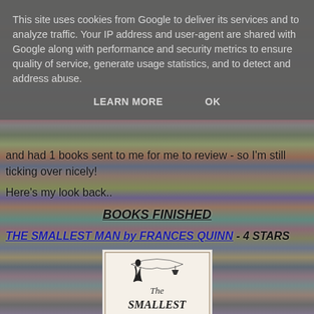This site uses cookies from Google to deliver its services and to analyze traffic. Your IP address and user-agent are shared with Google along with performance and security metrics to ensure quality of service, generate usage statistics, and to detect and address abuse.
LEARN MORE   OK
and had 1 books sent to me for me to review - so I'm still ticking over nicely!
Here's my look back..
BOOKS FINISHED
THE SMALLEST MAN by FRANCES QUINN - 4 STARS
[Figure (photo): Book cover of 'The Smallest Man' showing title in decorative script with ornamental design elements including figures and a ship]